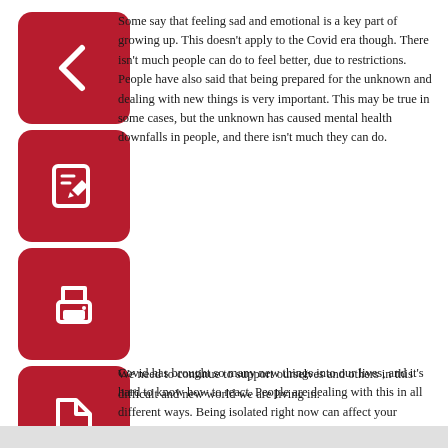[Figure (illustration): Red rounded square icon with a white left-pointing arrow (back navigation button)]
[Figure (illustration): Red rounded square icon with a white pencil/edit icon]
[Figure (illustration): Red rounded square icon with a white printer icon]
[Figure (illustration): Red rounded square icon with a white PDF document icon]
Some say that feeling sad and emotional is a key part of growing up. This doesn't apply to the Covid era though. There isn't much people can do to feel better, due to restrictions. People have also said that being prepared for the unknown and dealing with new things is very important. This may be true in some cases, but the unknown has caused mental health downfalls in people, and there isn't much they can do.
Covid has brought so many new things into our lives, and it's hard to know how to react. People are dealing with this in all different ways. Being isolated right now can affect your mental health in a negative way.
We need to continue to support ourselves and others in this difficult and new world we are living in.